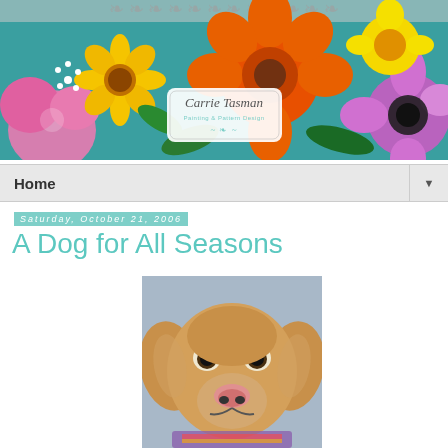[Figure (illustration): Colorful floral painting banner with 'Carrie Tasman Painting & Pattern Design' text and decorative logo in center. Bright flowers including sunflowers, orange blooms, purple and pink flowers on teal background.]
Home
Saturday, October 21, 2006
A Dog for All Seasons
[Figure (photo): Close-up photograph of a painted or sculpted dog head, resembling a golden Labrador, facing forward with realistic eyes and nose, with colorful decorative collar visible.]